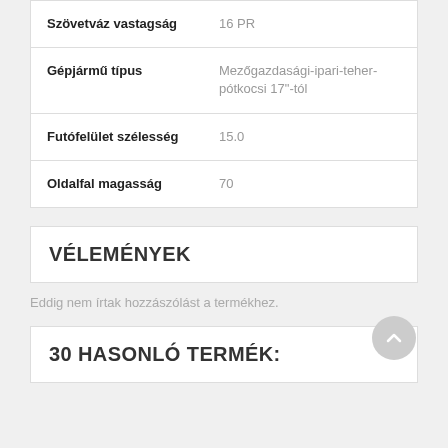| Tulajdonság | Érték |
| --- | --- |
| Szövetváz vastagság | 16 PR |
| Gépjármű típus | Mezőgazdasági-ipari-teher-pótkocsi 17"-tól |
| Futófelület szélesség | 15.0 |
| Oldalfal magasság | 70 |
VÉLEMÉNYEK
Eddig nem írtak hozzászólást a termékhez.
30 HASONLÓ TERMÉK: